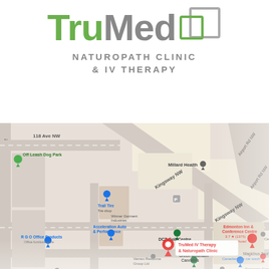[Figure (logo): TruMed Naturopath Clinic & IV Therapy logo with green and grey lettering and a square icon graphic]
[Figure (map): Google Maps screenshot showing the location of TruMed IV Therapy & Naturopath Clinic in Edmonton, NW area near Kingsway NW, with surrounding businesses including Millard Health, Trail Tire, Acceleration Auto & Performance, DCT Golf Centre, Green Mountain Cannabis, Edmonton Inn & Conference Centre, and others. A red map pin marks the clinic location.]